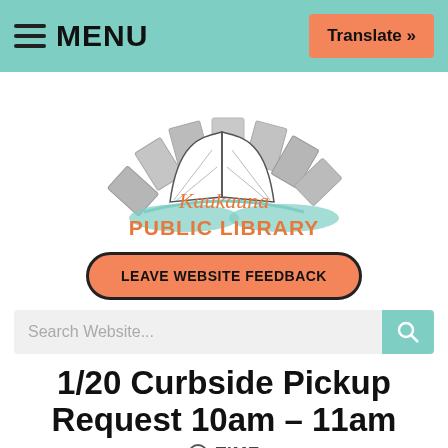≡ MENU   Translate »
[Figure (logo): Kaukauna Public Library logo: an arch of gray stone blocks with an open book and teal river/hill illustration below. Text: Kaukauna PUBLIC LIBRARY in orange.]
LEAVE WEBSITE FEEDBACK
Search Website...
1/20 Curbside Pickup Request 10am – 11am
TIME